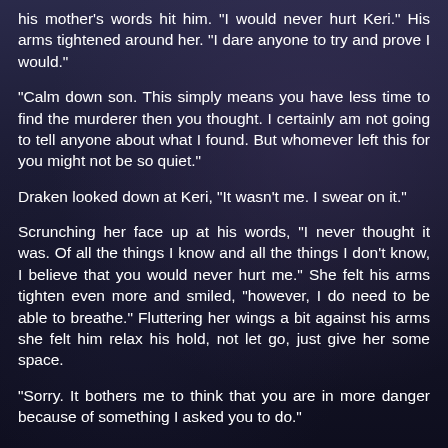his mother's words hit him. "I would never hurt Keri." His arms tightened around her. "I dare anyone to try and prove I would."
"Calm down son. This simply means you have less time to find the murderer then you thought. I certainly am not going to tell anyone about what I found. But whomever left this for you might not be so quiet."
Draken looked down at Keri, "It wasn't me. I swear on it."
Scrunching her face up at his words, "I never thought it was. Of all the things I know and all the things I don't know, I believe that you would never hurt me." She felt his arms tighten even more and smiled, "however, I do need to be able to breathe." Fluttering her wings a bit against his arms she felt him relax his hold, not let go, just give her some space.
"Sorry. It bothers me to think that you are in more danger because of something I asked you to do."